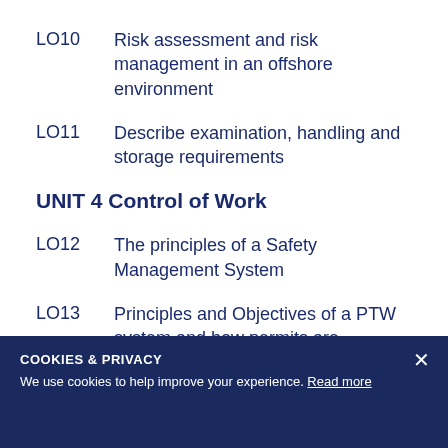LO10  Risk assessment and risk management in an offshore environment
LO11  Describe examination, handling and storage requirements
UNIT 4 Control of Work
LO12  The principles of a Safety Management System
LO13  Principles and Objectives of a PTW system and how permits are generated
COOKIES & PRIVACY
We use cookies to help improve your experience. Read more